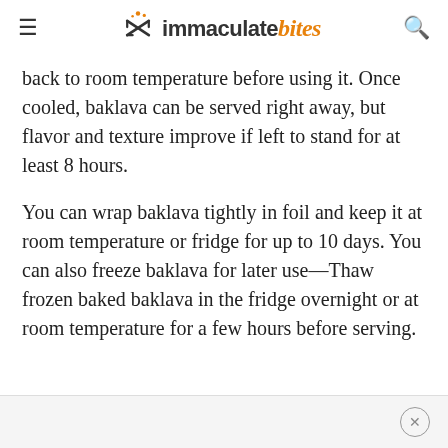immaculate bites
back to room temperature before using it. Once cooled, baklava can be served right away, but flavor and texture improve if left to stand for at least 8 hours.
You can wrap baklava tightly in foil and keep it at room temperature or fridge for up to 10 days. You can also freeze baklava for later use—Thaw frozen baked baklava in the fridge overnight or at room temperature for a few hours before serving.